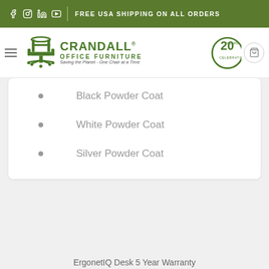FREE USA SHIPPING ON ALL ORDERS
[Figure (logo): Crandall Office Furniture logo with chair icon, '20 Years Celebrating' badge, and tagline 'Saving the Planet - One Chair at a Time']
Black Powder Coat
White Powder Coat
Silver Powder Coat
ErgonetIQ Desk 5 Year Warranty